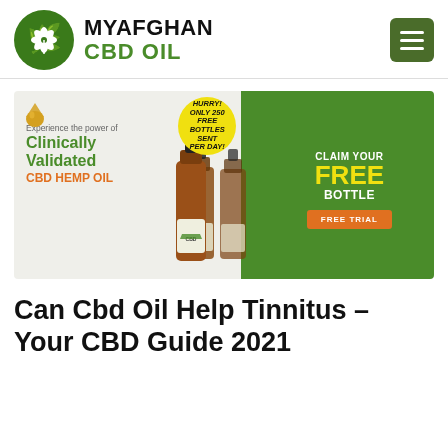MYAFGHAN CBD OIL
[Figure (illustration): CBD Hemp Oil advertisement banner showing bottles of CBD oil, a yellow HURRY bubble, green background on right with CLAIM YOUR FREE BOTTLE and FREE TRIAL button]
Can Cbd Oil Help Tinnitus – Your CBD Guide 2021